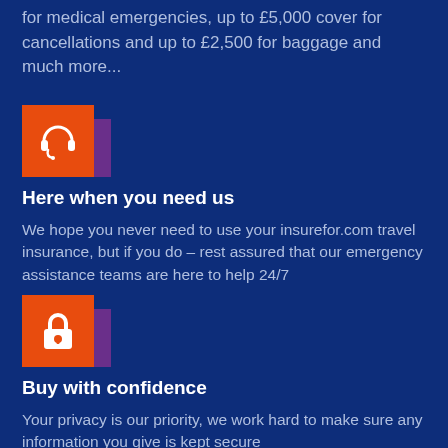for medical emergencies, up to £5,000 cover for cancellations and up to £2,500 for baggage and much more...
[Figure (illustration): Orange square icon with white headset/customer service icon, with a purple shadow block behind it]
Here when you need us
We hope you never need to use your insurefor.com travel insurance, but if you do – rest assured that our emergency assistance teams are here to help 24/7
[Figure (illustration): Orange square icon with white padlock icon, with a purple shadow block behind it]
Buy with confidence
Your privacy is our priority, we work hard to make sure any information you give is kept secure